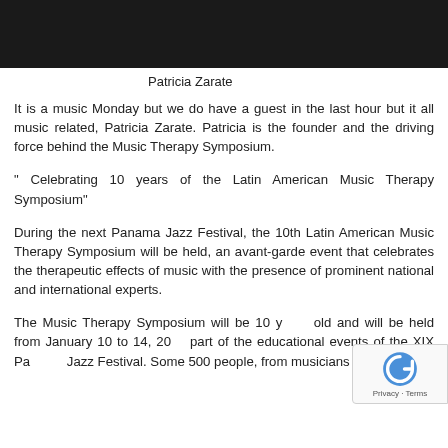[Figure (photo): Dark photo strip at the top of the page showing a partial figure]
Patricia Zarate
It is a music Monday but we do have a guest in the last hour but it all music related, Patricia Zarate. Patricia is the founder and the driving force behind the Music Therapy Symposium.
" Celebrating 10 years of the Latin American Music Therapy Symposium"
During the next Panama Jazz Festival, the 10th Latin American Music Therapy Symposium will be held, an avant-garde event that celebrates the therapeutic effects of music with the presence of prominent national and international experts.
The Music Therapy Symposium will be 10 years old and will be held from January 10 to 14, 202[...] part of the educational events of the XIX Panama Jazz Festival. Some 500 people, from musicians to...